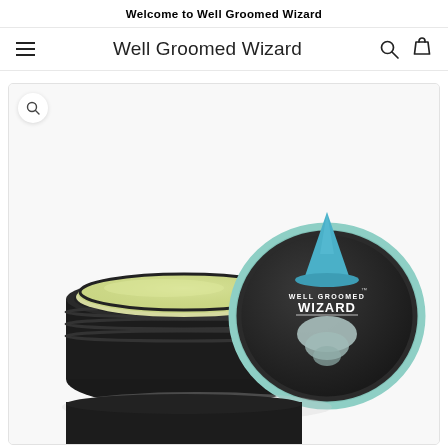Welcome to Well Groomed Wizard
Well Groomed Wizard
[Figure (photo): Open black tin container of Well Groomed Wizard beard balm/wax product showing light green/yellow wax inside the open jar, with the dark lid featuring the Well Groomed Wizard logo (wizard hat and beard illustration) placed beside it on a white background]